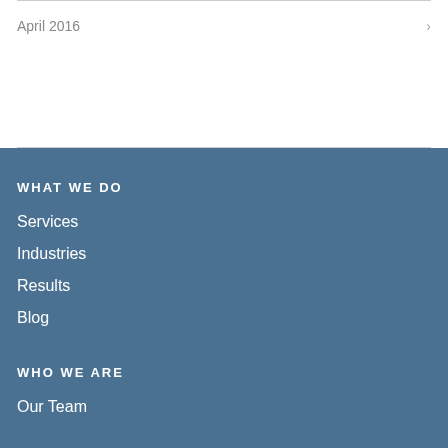April 2016
WHAT WE DO
Services
Industries
Results
Blog
WHO WE ARE
Our Team